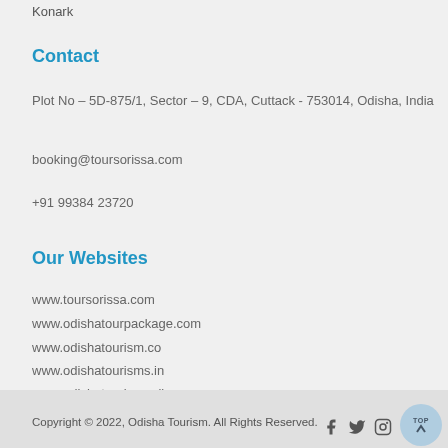Konark
Contact
Plot No – 5D-875/1, Sector – 9, CDA, Cuttack - 753014, Odisha, India
booking@toursorissa.com
+91 99384 23720
Our Websites
www.toursorissa.com
www.odishatourpackage.com
www.odishatourism.co
www.odishatourisms.in
www.odishatourismonline.com
Copyright © 2022, Odisha Tourism. All Rights Reserved.